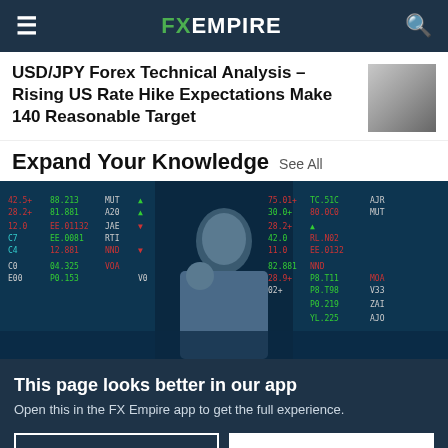FX EMPIRE
USD/JPY Forex Technical Analysis – Rising US Rate Hike Expectations Make 140 Reasonable Target
Expand Your Knowledge See All
[Figure (photo): Man in suit looking at stock market screens with trading data displayed in green and red]
This page looks better in our app
Open this in the FX Empire app to get the full experience.